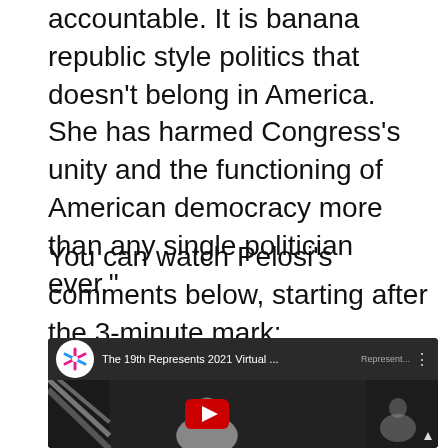accountable. It is banana republic style politics that doesn't belong in America. She has harmed Congress's unity and the functioning of American democracy more than any single politician ever."
You can watch Pelosi's comments below, starting after the 3-minute mark:
[Figure (screenshot): YouTube video embed showing 'The 19th Represents 2021 Virtual ...' with the 19th News logo, a play button overlay on a dark thumbnail of a person in front of an American flag, and a smaller secondary video thumbnail on the right with an up-arrow icon.]